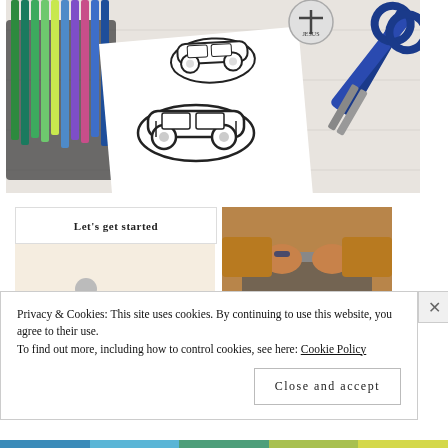[Figure (photo): Craft supplies photo: colored pens/markers in a tin, cut-out paper car illustrations, and blue scissors on a white wooden surface]
[Figure (photo): Website screenshot showing a 'Let's get started' UI card overlapping with a photo of a person typing on a laptop]
Privacy & Cookies: This site uses cookies. By continuing to use this website, you agree to their use.
To find out more, including how to control cookies, see here: Cookie Policy
Close and accept